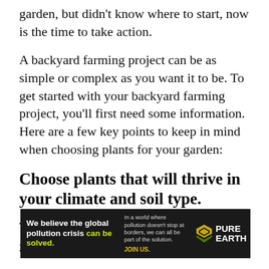garden, but didn't know where to start, now is the time to take action.
A backyard farming project can be as simple or complex as you want it to be. To get started with your backyard farming project, you'll first need some information. Here are a few key points to keep in mind when choosing plants for your garden:
Choose plants that will thrive in your climate and soil type.
Think about what you'll be using your garden
[Figure (infographic): Pure Earth advertisement banner. Black background. Left section bold white text: 'We believe the global pollution crisis' with 'can be solved.' in yellow-green. Middle section smaller text: 'In a world where pollution doesn't stop at borders, we can all be part of the solution.' with 'JOIN US.' in yellow. Right section: Pure Earth logo with diamond/chevron icon in gold and green, and 'PURE EARTH' in white bold text.]